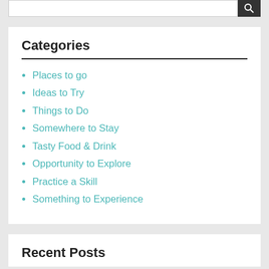Categories
Places to go
Ideas to Try
Things to Do
Somewhere to Stay
Tasty Food & Drink
Opportunity to Explore
Practice a Skill
Something to Experience
Recent Posts